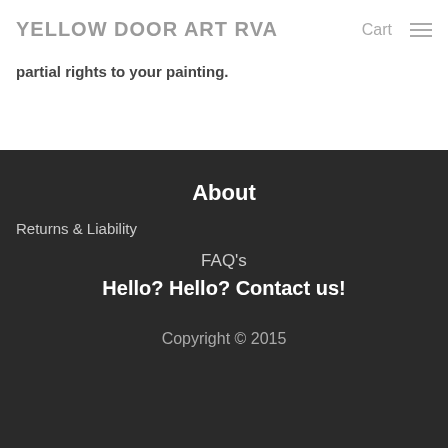YELLOW DOOR ART RVA
partial rights to your painting.
About
Returns & Liability
FAQ's
Hello? Hello? Contact us!
Copyright © 2015